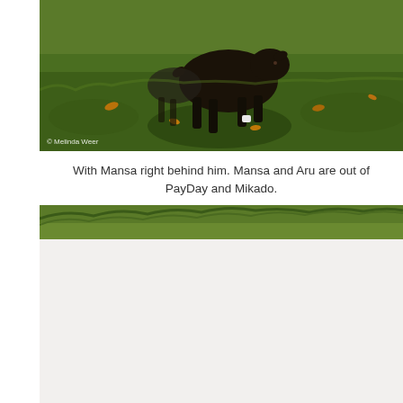[Figure (photo): A dark-colored goat running or trotting on green grass with fallen leaves. A watermark '© Melinda Weer' is visible in the lower-left corner of the image.]
With Mansa right behind him. Mansa and Aru are out of PayDay and Mikado.
[Figure (photo): A partially visible outdoor scene showing green foliage/grass at the top, with the lower portion cut off or faded to white.]